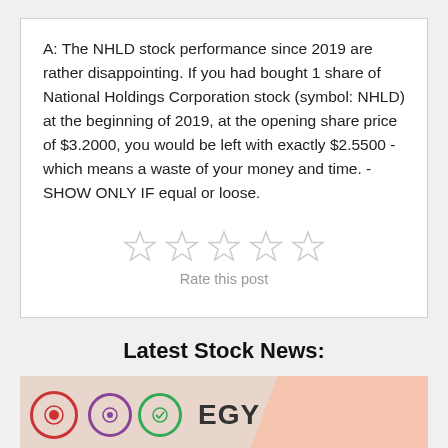A: The NHLD stock performance since 2019 are rather disappointing. If you had bought 1 share of National Holdings Corporation stock (symbol: NHLD) at the beginning of 2019, at the opening share price of $3.2000, you would be left with exactly $2.5500 - which means a waste of your money and time. - SHOW ONLY IF equal or loose.
[Figure (other): Five empty star rating icons (unfilled, light gray) used for a 'Rate this post' interactive widget]
Rate this post
Latest Stock News:
[Figure (photo): Partial image of a smartphone screen showing icons and the text 'TEGY NG' visible, set against a pinkish/beige background with colored circular icons]